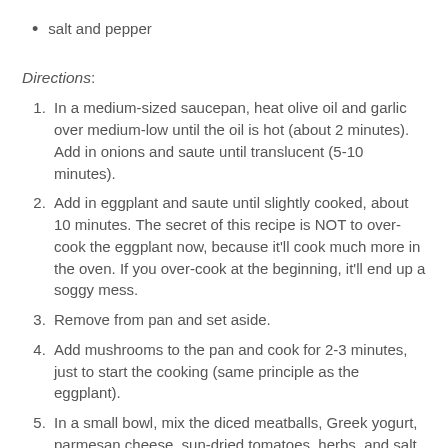salt and pepper
Directions:
In a medium-sized saucepan, heat olive oil and garlic over medium-low until the oil is hot (about 2 minutes). Add in onions and saute until translucent (5-10 minutes).
Add in eggplant and saute until slightly cooked, about 10 minutes. The secret of this recipe is NOT to over-cook the eggplant now, because it'll cook much more in the oven. If you over-cook at the beginning, it'll end up a soggy mess.
Remove from pan and set aside.
Add mushrooms to the pan and cook for 2-3 minutes, just to start the cooking (same principle as the eggplant).
In a small bowl, mix the diced meatballs, Greek yogurt, parmesan cheese, sun-dried tomatoes, herbs, and salt and pepper.